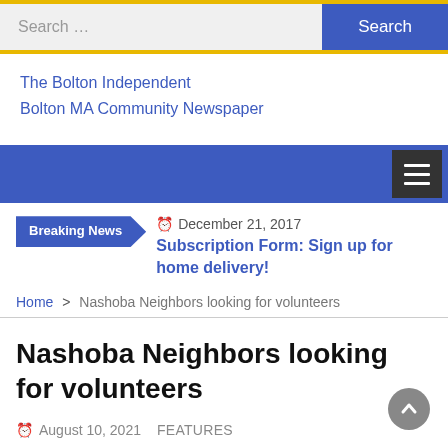Search ... Search
The Bolton Independent
Bolton MA Community Newspaper
Breaking News  December 21, 2017  Subscription Form: Sign up for home delivery!
Home > Nashoba Neighbors looking for volunteers
Nashoba Neighbors looking for volunteers
August 10, 2021  FEATURES